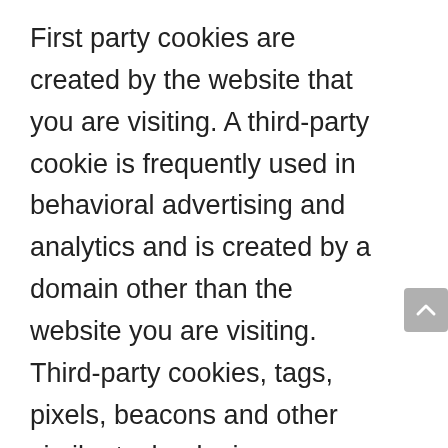First party cookies are created by the website that you are visiting. A third-party cookie is frequently used in behavioral advertising and analytics and is created by a domain other than the website you are visiting. Third-party cookies, tags, pixels, beacons and other similar technologies (collectively, “Tags”) may be placed on the Website to monitor interaction with advertising content and to target and optimize advertising. Each internet browser has functionality so that you can block both first and third-party cookies and clear your browser’s cache. The “help” feature of the menu bar on most browsers will tell you how to stop accepting new cookies, how